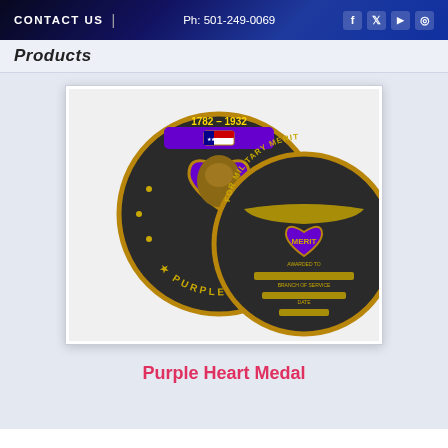CONTACT US | Ph: 501-249-0069
Products
[Figure (photo): Two Purple Heart challenge coins — front showing a purple heart-shaped medallion with George Washington profile bust, stars, and text 'PURPLE HEART 1782-1932', and back showing 'FOR MILITARY MERIT' with a purple heart and MERIT text, with engraving fields for name, branch of service, and date.]
Purple Heart Medal